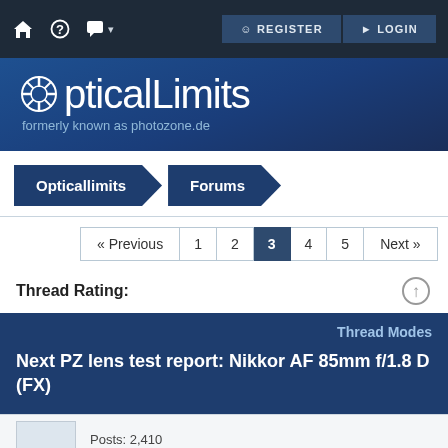REGISTER   LOGIN
[Figure (logo): OpticalLimits logo with camera aperture icon, text 'OpticalLimits formerly known as photozone.de' on dark blue background]
Opticallimits
Forums
« Previous  1  2  3  4  5  Next »
Thread Rating:
Thread Modes
Next PZ lens test report: Nikkor AF 85mm f/1.8 D (FX)
Posts: 2,410